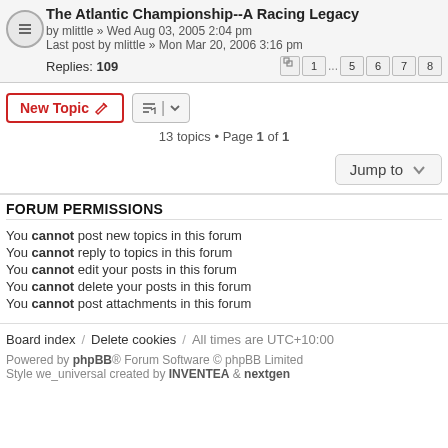The Atlantic Championship--A Racing Legacy
by mlittle » Wed Aug 03, 2005 2:04 pm
Last post by mlittle » Mon Mar 20, 2006 3:16 pm
Replies: 109
New Topic  |  sort  |  13 topics • Page 1 of 1
Jump to
FORUM PERMISSIONS
You cannot post new topics in this forum
You cannot reply to topics in this forum
You cannot edit your posts in this forum
You cannot delete your posts in this forum
You cannot post attachments in this forum
Board index  /  Delete cookies  /  All times are UTC+10:00
Powered by phpBB® Forum Software © phpBB Limited
Style we_universal created by INVENTEA & nextgen